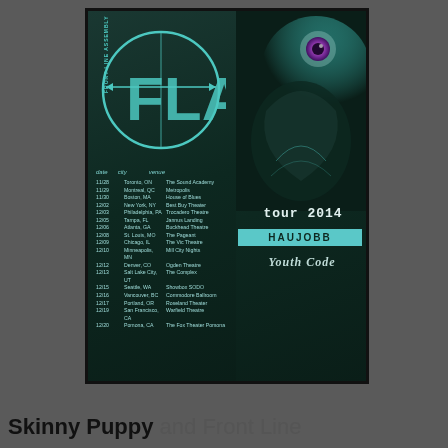[Figure (illustration): Concert tour flyer for Front Line Assembly (FLA) Tour 2014, featuring the FLA logo (stylized letters in a circle) on the left panel with a list of tour dates and cities/venues in cyan text on a dark teal/black background. The right panel shows a surreal eye/skull artwork with the text 'tour 2014', a cyan HAUJOBB banner, and 'Youth Code' text in stylized gothic font. Supporting acts listed are HAUJOBB and Youth Code.]
Skinny Puppy and Front Line